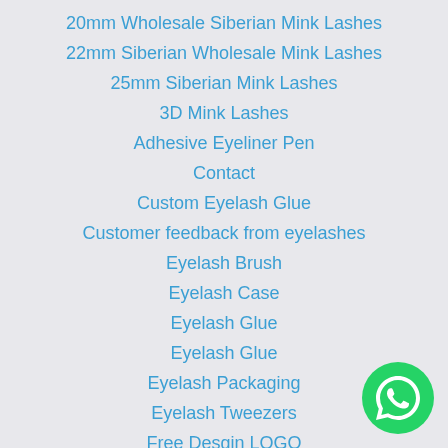20mm Wholesale Siberian Mink Lashes
22mm Siberian Wholesale Mink Lashes
25mm Siberian Mink Lashes
3D Mink Lashes
Adhesive Eyeliner Pen
Contact
Custom Eyelash Glue
Customer feedback from eyelashes
Eyelash Brush
Eyelash Case
Eyelash Glue
Eyelash Glue
Eyelash Packaging
Eyelash Tweezers
Free Desgin LOGO
Home
3D Mink Lashes
[Figure (illustration): WhatsApp contact button (green circle with phone icon) in bottom-right corner]